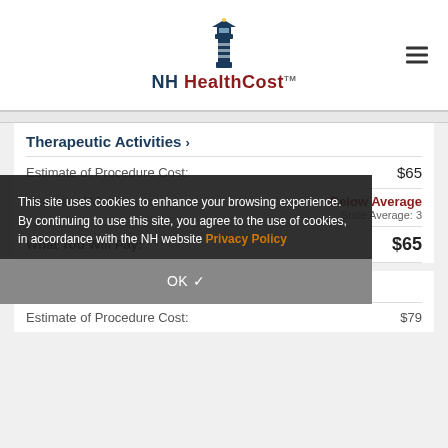NH HealthCost
Therapeutic Activities >
Estimate of Procedure Cost: $65
Number of Visits: ▼ Below Average State Average: 3
What You Will Pay: $65
This site uses cookies to enhance your browsing experience. By continuing to use this site, you agree to the use of cookies, in accordance with the NH website Privacy Policy
OK ✓
Therapeutic Exercises >
Estimate of Procedure Cost: $79